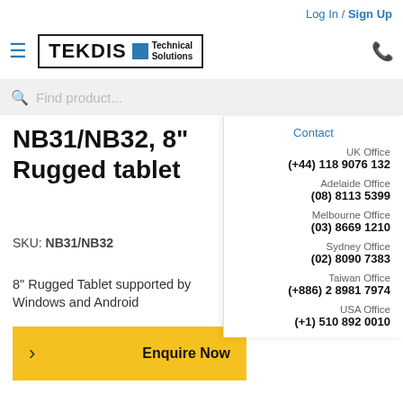Log In / Sign Up
[Figure (logo): TEKDIS Technical Solutions logo with blue square]
Find product...
Contact
UK Office
(+44) 118 9076 132
NB31/NB32, 8" Rugged tablet
Adelaide Office
(08) 8113 5399
SKU: NB31/NB32
Melbourne Office
(03) 8669 1210
8" Rugged Tablet supported by Windows and Android
Sydney Office
(02) 8090 7383
Enquire Now
Taiwan Office
(+886) 2 8981 7974
USA Office
(+1) 510 892 0010